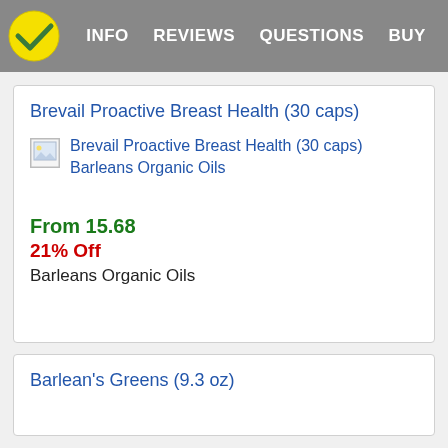INFO  REVIEWS  QUESTIONS  BUY
Brevail Proactive Breast Health (30 caps)
[Figure (photo): Broken image placeholder for Brevail Proactive Breast Health (30 caps) Barleans Organic Oils]
From 15.68
21% Off
Barleans Organic Oils
Barlean's Greens (9.3 oz)